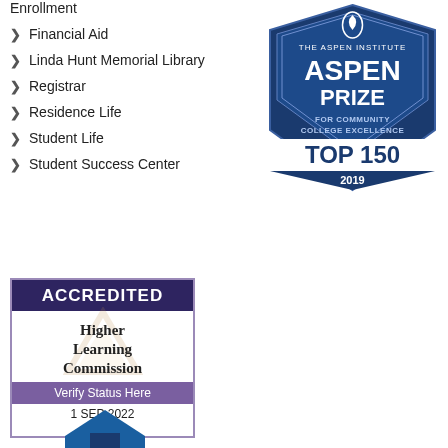Enrollment
Financial Aid
Linda Hunt Memorial Library
Registrar
Residence Life
Student Life
Student Success Center
[Figure (logo): The Aspen Institute Aspen Prize for Community College Excellence Top 150 2019 badge - blue shield shape]
[Figure (logo): Higher Learning Commission Accredited badge with Verify Status Here and date 1 SEP 2022]
[Figure (logo): Partial blue house/building logo at bottom]